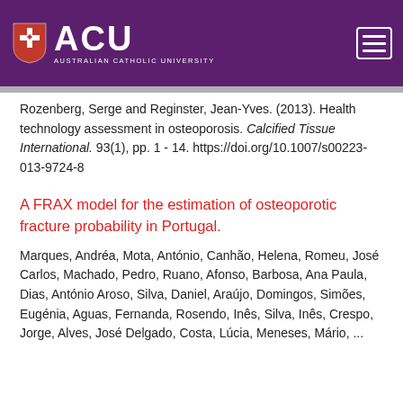[Figure (logo): Australian Catholic University (ACU) logo with shield and hamburger menu on purple header bar]
Rozenberg, Serge and Reginster, Jean-Yves. (2013). Health technology assessment in osteoporosis. Calcified Tissue International. 93(1), pp. 1 - 14. https://doi.org/10.1007/s00223-013-9724-8
A FRAX model for the estimation of osteoporotic fracture probability in Portugal.
Marques, Andréa, Mota, António, Canhão, Helena, Romeu, José Carlos, Machado, Pedro, Ruano, Afonso, Barbosa, Ana Paula, Dias, António Aroso, Silva, Daniel, Araújo, Domingos, Simões, Eugénia, Aguas, Fernanda, Rosendo, Inês, Silva, Inês, Crespo, Jorge, Alves, José Delgado, Costa, Lúcia, Meneses, Mário, ...